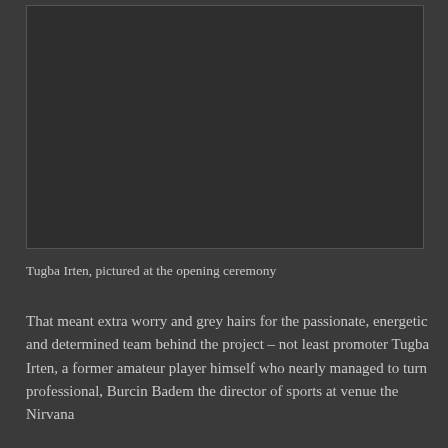[Figure (photo): Dark photograph, likely showing a person or scene at an opening ceremony. The image is dark/low exposure with very little detail visible.]
Tugba Irten, pictured at the opening ceremony
That meant extra worry and grey hairs for the passionate, energetic and determined team behind the project – not least promoter Tugba Irten, a former amateur player himself who nearly managed to turn professional, Burcin Badem the director of sports at venue the Nirvana